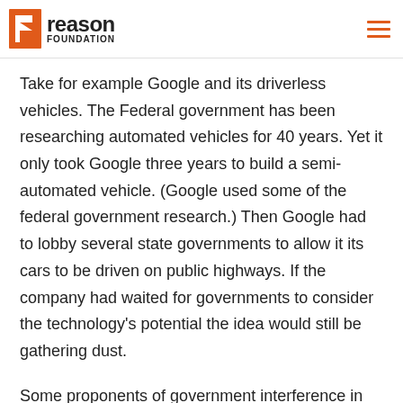reason FOUNDATION
Take for example Google and its driverless vehicles. The Federal government has been researching automated vehicles for 40 years. Yet it only took Google three years to build a semi-automated vehicle. (Google used some of the federal government research.) Then Google had to lobby several state governments to allow it its cars to be driven on public highways. If the company had waited for governments to consider the technology's potential the idea would still be gathering dust.
Some proponents of government interference in the development of V2V communication